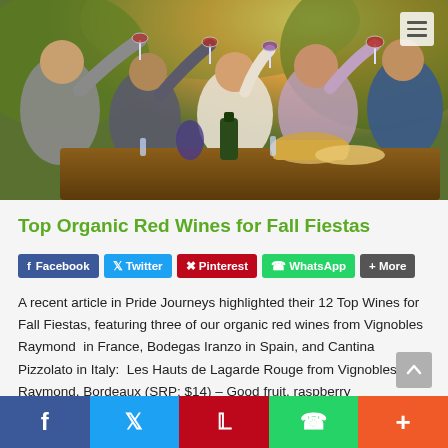[Figure (photo): Group of friends outdoors toasting with wine glasses over a wooden table with food and drinks, sunny vineyard setting]
Top Organic Red Wines for Fall Fiestas
[Figure (infographic): Social share buttons: Facebook, Twitter, Pinterest, WhatsApp, More]
A recent article in Pride Journeys highlighted their 12 Top Wines for Fall Fiestas, featuring three of our organic red wines from Vignobles Raymond  in France, Bodegas Iranzo in Spain, and Cantina Pizzolato in Italy:  Les Hauts de Lagarde Rouge from Vignobles Raymond, Bordeaux (SRP: $14) – Good fruit, raspberry
[Figure (infographic): Bottom social share bar with Facebook, Twitter, Pinterest, WhatsApp, and More buttons]